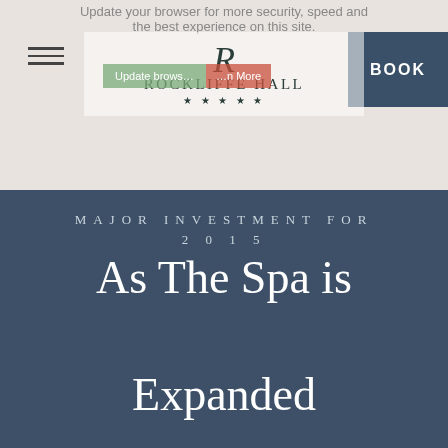Update your browser for more security, speed and the best experience on this site.
[Figure (logo): Rockliffe Hall five-star hotel logo with stylized R and star rating]
BOOK
MAJOR INVESTMENT FOR 2015
As The Spa is Expanded